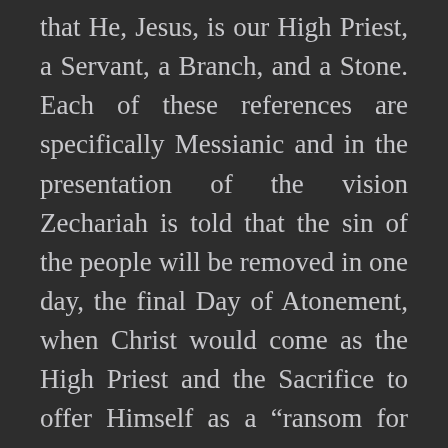that He, Jesus, is our High Priest, a Servant, a Branch, and a Stone. Each of these references are specifically Messianic and in the presentation of the vision Zechariah is told that the sin of the people will be removed in one day, the final Day of Atonement, when Christ would come as the High Priest and the Sacrifice to offer Himself as a “ransom for many.” On that day, the veil in the Temple was torn in two, as there no longer remained a need for an earthly High Priest to stand before the altar on our behalf. Jesus is our High Priest.